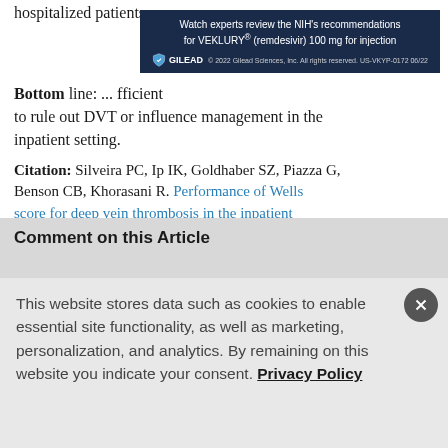hospitalized patients.
[Figure (other): Gilead advertisement banner: 'Watch experts review the NIH's recommendations for VEKLURY® (remdesivir) 100 mg for injection'. Gilead logo with shield icon. © 2022 Gilead Sciences, Inc. All rights reserved. US-VKYP-0172 06/22]
Bottom line: ... sufficient to rule out DVT or influence management in the inpatient setting.
Citation: Silveira PC, Ip IK, Goldhaber SZ, Piazza G, Benson CB, Khorasani R. Performance of Wells score for deep vein thrombosis in the inpatient setting. JAMA Intern Med. 2015;175(7):1112-1117.
[Figure (other): Share buttons row: Share label followed by Facebook, Twitter, LinkedIn, and Email icons on dark navy background]
Comment on this Article
This website stores data such as cookies to enable essential site functionality, as well as marketing, personalization, and analytics. By remaining on this website you indicate your consent. Privacy Policy